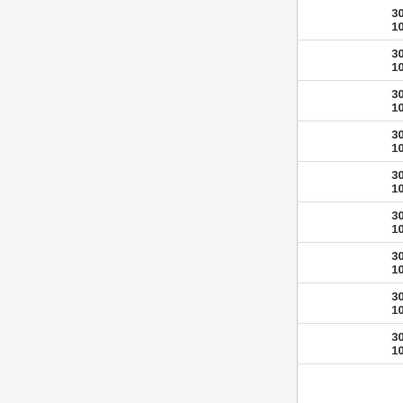| Time | Temp | Dew Point | Pressure | Wind Dir | Wind Speed |
| --- | --- | --- | --- | --- | --- |
| 17:11 | 67.1 °F / 19.5 °C | 59.7 °F / 15.4 °C | 30in / 1016.6hPa | WSW | 6... / 1... |
| 17:16 | 66.9 °F / 19.4 °C | 59.2 °F / 15.1 °C | 30in / 1016.6hPa | NW | 2... / 3... |
| 17:21 | 66.9 °F / 19.4 °C | 59.5 °F / 15.3 °C | 30in / 1016.6hPa | WNW | 4... / 7... |
| 17:26 | 66.7 °F / 19.3 °C | 59.4 °F / 15.2 °C | 30in / 1016.6hPa | WSW | 4... / 7... |
| 17:32 | 66.4 °F / 19.1 °C | 59.4 °F / 15.2 °C | 30in / 1016.6hPa | WSW | 0... / 1... |
| 17:37 | 66.4 °F / 19.1 °C | 59.7 °F / 15.4 °C | 30in / 1016.6hPa | West | 2... / 3... |
| 17:42 | 66.4 °F / 19.1 °C | 60.1 °F / 15.6 °C | 30in / 1016.6hPa | WSW | 0... / 1... |
| 17:47 | 66 °F / 18.9 °C | 60.1 °F / 15.6 °C | 30in / 1016.6hPa | Calm |  |
| 17:52 | 65.8 °F / 18.8 °C | 60.3 °F / 15.7 °C | 30in / 1016.6hPa | NW | 2... / 3... |